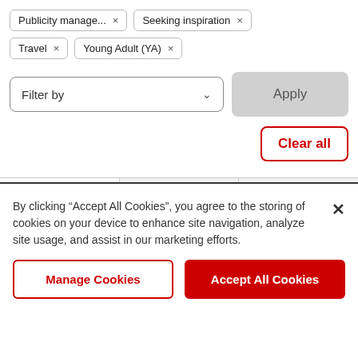Publicity manage... ×
Seeking inspiration ×
Travel ×
Young Adult (YA) ×
Filter by
Apply
Clear all
Recently added
Most popular
Most discussed
By clicking “Accept All Cookies”, you agree to the storing of cookies on your device to enhance site navigation, analyze site usage, and assist in our marketing efforts.
Manage Cookies
Accept All Cookies